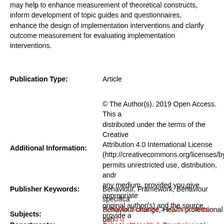may help to enhance measurement of theoretical constructs, inform development of topic guides and questionnaires, enhance the design of implementation interventions and clarify outcome measurement for evaluating implementation interventions.
Publication Type: Article
Additional Information: © The Author(s). 2019 Open Access. This article is distributed under the terms of the Creative Commons Attribution 4.0 International License (http://creativecommons.org/licenses/by/4.0/), which permits unrestricted use, distribution, and reproduction in any medium, provided you give appropriate credit to the original author(s) and the source, provide a link to the Creative Commons license, and indicate if changes were made. The Creative Commons Public Domain Dedication waiver(http://creativecommons.org/publicdomain/zero/1.0/) applies to the data made available in this article, unless otherwise stated.
Publisher Keywords: Behaviour, Framework, Behaviour specification, Behaviour change, Health professional behaviour
Subjects: H Social Sciences > HD Industries. Land use. Labour > HD28 Management. Industrial Management
R Medicine
Departments: School of Health & Psychological Sciences